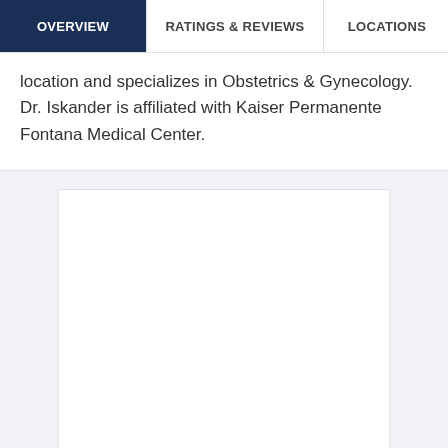OVERVIEW | RATINGS & REVIEWS | LOCATIONS | EX
location and specializes in Obstetrics & Gynecology. Dr. Iskander is affiliated with Kaiser Permanente Fontana Medical Center.
[Figure (other): Advertisement placeholder box — white rectangle on light gray background]
ADVERTISEMENT